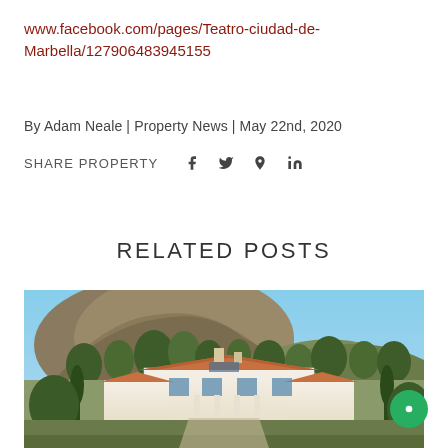www.facebook.com/pages/Teatro-ciudad-de-Marbella/127906483945155
By Adam Neale | Property News | May 22nd, 2020
SHARE PROPERTY  f  𝕎  𝒫  in
RELATED POSTS
[Figure (photo): Aerial/elevated view of a large white Mediterranean-style villa with terracotta roof tiles, surrounded by trees and greenery, with rocky hills in the background under a blue sky.]